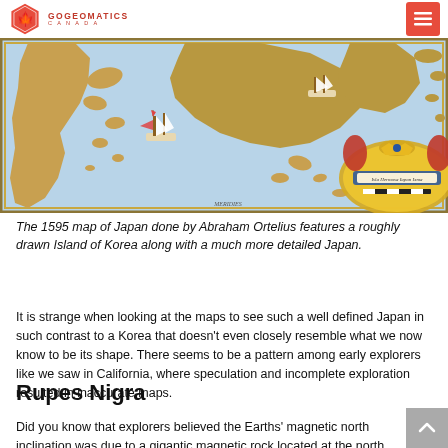GoGeomatics Canada
[Figure (map): A detail of the 1595 map of Japan by Abraham Ortelius showing sailing ships, coastlines, and a decorative cartouche with ornate border on the right side. The map shows a roughly drawn Island of Korea and a more detailed Japan with blue sea and gold-toned land masses.]
The 1595 map of Japan done by Abraham Ortelius features a roughly drawn Island of Korea along with a much more detailed Japan.
It is strange when looking at the maps to see such a well defined Japan in such contrast to a Korea that doesn't even closely resemble what we now know to be its shape. There seems to be a pattern among early explorers like we saw in California, where speculation and incomplete exploration resulted in inaccurate maps.
Rupes Nigra
Did you know that explorers believed the Earths' magnetic north inclination was due to a gigantic magnetic rock located at the north